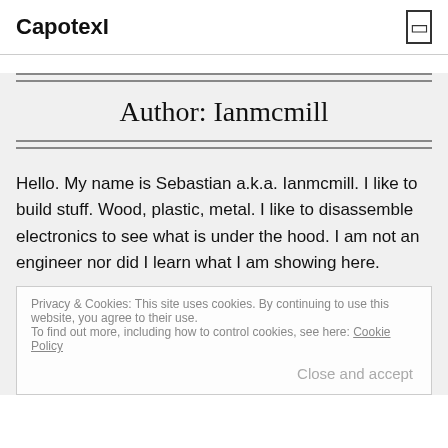CapotexI
Author: Ianmcmill
Hello. My name is Sebastian a.k.a. Ianmcmill. I like to build stuff. Wood, plastic, metal. I like to disassemble electronics to see what is under the hood. I am not an engineer nor did I learn what I am showing here.
Privacy & Cookies: This site uses cookies. By continuing to use this website, you agree to their use. To find out more, including how to control cookies, see here: Cookie Policy
Close and accept